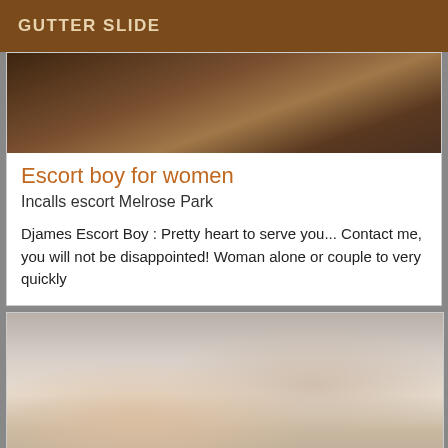GUTTER SLIDE
[Figure (photo): Partial close-up photo, dark tones, person lying down]
Escort boy for women
Incalls escort Melrose Park
Djames Escort Boy : Pretty heart to serve you... Contact me, you will not be disappointed! Woman alone or couple to very quickly
[Figure (photo): Person taking a mirror selfie with a phone, light interior background]